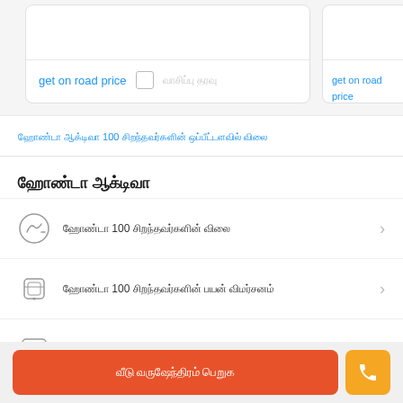get on road price
get on road price
ஹோண்டா ஆக்டிவா 100 சிறந்தவர்களின் ஒப்பீட்டளவில் விலை
ஹோண்டா ஆக்டிவா
ஹோண்டா 100 சிறந்தவர்களின் விலை
ஹோண்டா 100 சிறந்தவர்களின் பயன் விமர்சனம்
ஹோண்டா 100 சிறந்தவர்களின் படங்கள் விமர்சனம்
வீடு வருஷேந்திரம் பெறுக